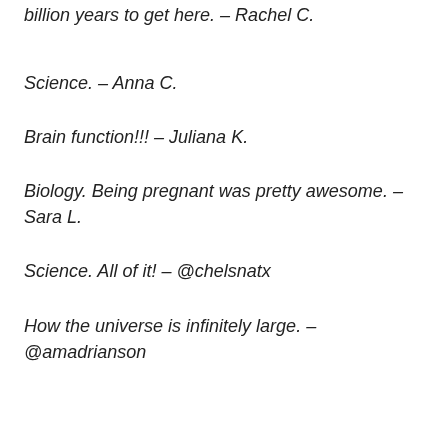billion years to get here. – Rachel C.
Science. – Anna C.
Brain function!!! – Juliana K.
Biology. Being pregnant was pretty awesome. – Sara L.
Science. All of it! – @chelsnatx
How the universe is infinitely large. – @amadrianson